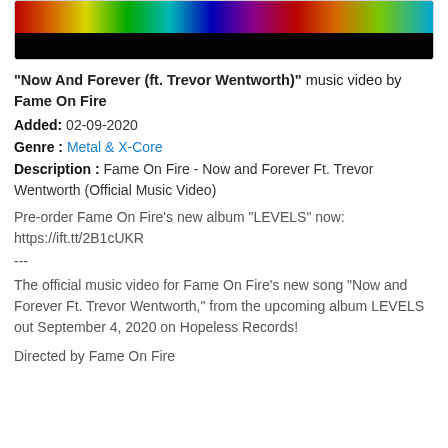[Figure (screenshot): Thumbnail image showing a music video still with colorful light streaks at top and black area below]
"Now And Forever (ft. Trevor Wentworth)" music video by Fame On Fire
Added: 02-09-2020
Genre : Metal & X-Core
Description : Fame On Fire - Now and Forever Ft. Trevor Wentworth (Official Music Video)
Pre-order Fame On Fire's new album "LEVELS" now: https://ift.tt/2B1cUKR
---
The official music video for Fame On Fire's new song "Now and Forever Ft. Trevor Wentworth," from the upcoming album LEVELS out September 4, 2020 on Hopeless Records!
Directed by Fame On Fire